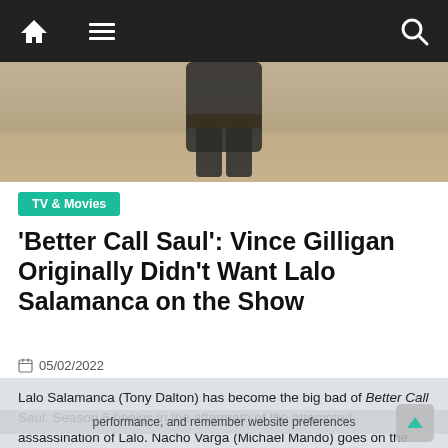Navigation bar with home, menu, and search icons
[Figure (photo): Hero image showing a person in dark clothing standing in a desert/sandy outdoor setting, cropped to torso and lower body]
'Better Call Saul': Vince Gilligan Originally Didn't Want Lalo Salamanca on the Show
05/02/2022
Lalo Salamanca (Tony Dalton) has become the big bad of Better Call Saul. Season 6 begins in the aftermath of the attempted assassination of Lalo. Nacho Varga (Michael Mando) goes on the run for having helped Mike (Jonathan Banks) and Gus (Giancarlo Esposito)
performance, and remember website preferences